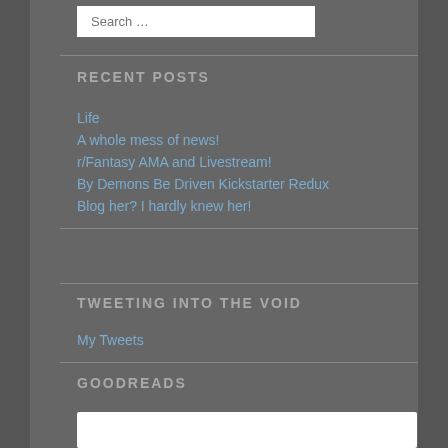Search …
RECENT POSTS
Life
A whole mess of news!
r/Fantasy AMA and Livestream!
By Demons Be Driven Kickstarter Redux
Blog her? I hardly knew her!
TWEETING INTO THE VOID
My Tweets
GOODREADS